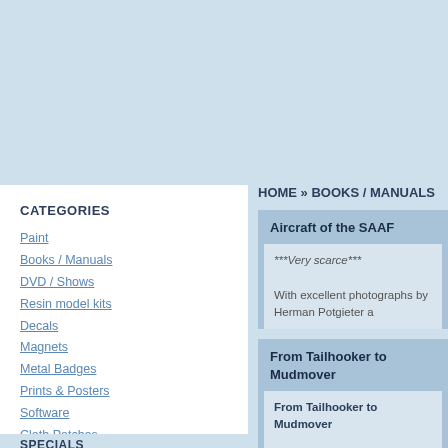CATEGORIES
Paint
Books / Manuals
DVD / Shows
Resin model kits
Decals
Magnets
Metal Badges
Prints & Posters
Software
Cloth Patches
Clocks
Other
SPECIALS
HOME » BOOKS / MANUALS
Aircraft of the SAAF
***Very scarce***

With excellent photographs by Herman Potgieter a
From Tailhooker to Mudmover
From Tailhooker to Mudmover

By Dick Lord